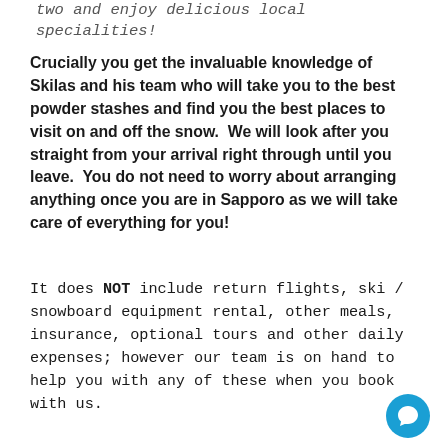two and enjoy delicious local specialities!
Crucially you get the invaluable knowledge of Skilas and his team who will take you to the best powder stashes and find you the best places to visit on and off the snow.  We will look after you straight from your arrival right through until you leave.  You do not need to worry about arranging anything once you are in Sapporo as we will take care of everything for you!
It does NOT include return flights, ski / snowboard equipment rental, other meals, insurance, optional tours and other daily expenses; however our team is on hand to help you with any of these when you book with us.